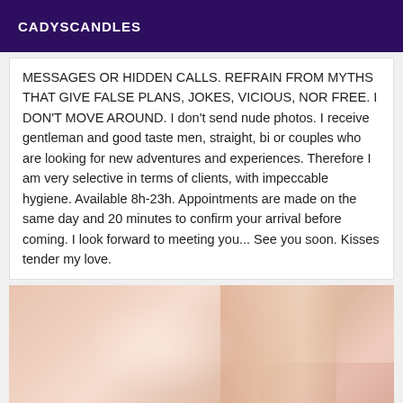CADYSCANDLES
MESSAGES OR HIDDEN CALLS. REFRAIN FROM MYTHS THAT GIVE FALSE PLANS, JOKES, VICIOUS, NOR FREE. I DON'T MOVE AROUND. I don't send nude photos. I receive gentleman and good taste men, straight, bi or couples who are looking for new adventures and experiences. Therefore I am very selective in terms of clients, with impeccable hygiene. Available 8h-23h. Appointments are made on the same day and 20 minutes to confirm your arrival before coming. I look forward to meeting you... See you soon. Kisses tender my love.
[Figure (photo): Close-up photo of a person's face/neck area with skin tones in beige and peach colors]